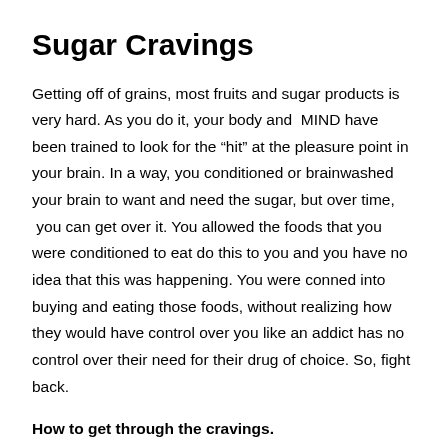Sugar Cravings
Getting off of grains, most fruits and sugar products is very hard.  As you do it, your body and  MIND have been trained to look for the “hit” at the pleasure point in your brain.  In a way, you conditioned or brainwashed your brain to want and need the sugar, but over time,  you can get over it.  You allowed the foods that you were conditioned to eat do this to you and you have no idea that this was happening.  You were conned into buying and eating those foods, without realizing how they would have control over you like an addict has no control over their need for their drug of choice.  So, fight back.
How to get through the cravings.
Drink lots of sugar-free fluids